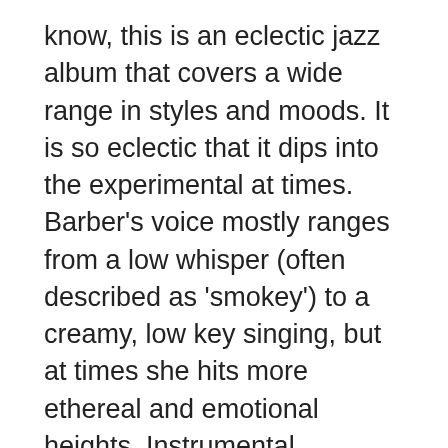know, this is an eclectic jazz album that covers a wide range in styles and moods. It is so eclectic that it dips into the experimental at times. Barber's voice mostly ranges from a low whisper (often described as 'smokey') to a creamy, low key singing, but at times she hits more ethereal and emotional heights. Instrumental accompaniment is performed and recorded beautifully as well, with keyboards, piano, guitar, bass, and percussion getting their moments to shine.
As for the BMR Philharmonitor's rendering of 'Cafe Blue,' I have zero complaints. Barber's voice and instrumental positions in the soundstage were very distinct, and again I find myself marveling at how a broad three-dimensional musical performance can come from just two points of